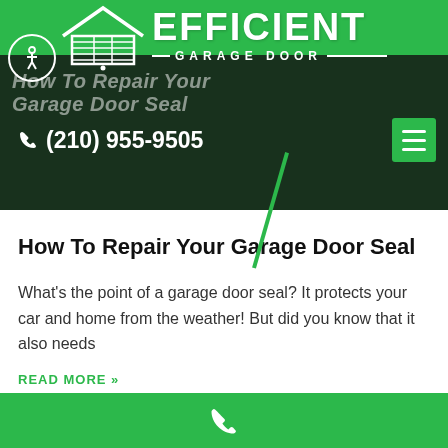[Figure (screenshot): Efficient Garage Door company logo with house icon and green background]
How To Repair Your Garage Door Seal
(210) 955-9505
How To Repair Your Garage Door Seal
What's the point of a garage door seal? It protects your car and home from the weather! But did you know that it also needs
READ MORE »